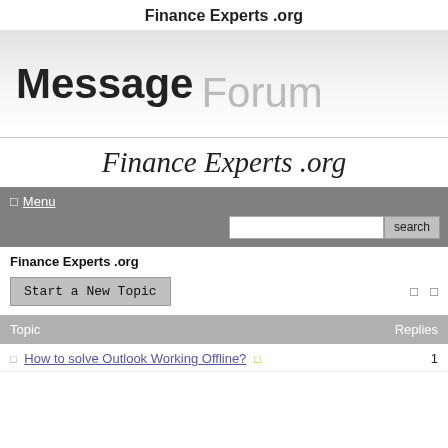Finance Experts .org
[Figure (illustration): Message Forum banner with large bold text 'Message' and gray 'Forum']
Finance Experts .org
☰ Menu  [search bar]  search
Finance Experts .org
Start a New Topic
| Topic | Replies |
| --- | --- |
| How to solve Outlook Working Offline? | 1 |
How to solve Outlook Working Offline?   1